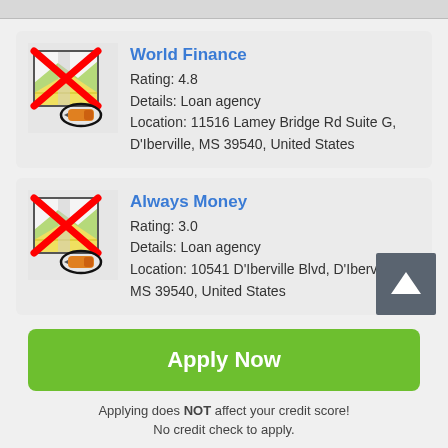[Figure (screenshot): Top gray bar partial UI element]
World Finance
Rating: 4.8
Details: Loan agency
Location: 11516 Lamey Bridge Rd Suite G, D'Iberville, MS 39540, United States
Always Money
Rating: 3.0
Details: Loan agency
Location: 10541 D'Iberville Blvd, D'Iberville, MS 39540, United States
Apply Now
Applying does NOT affect your credit score!
No credit check to apply.